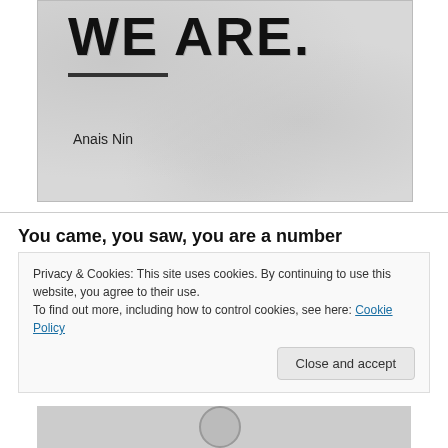[Figure (illustration): Textured gray background image with large bold text 'WE ARE.' and an underline beneath 'WE', with author name 'Anais Nin' below]
Anais Nin
You came, you saw, you are a number
Privacy & Cookies: This site uses cookies. By continuing to use this website, you agree to their use.
To find out more, including how to control cookies, see here: Cookie Policy
Close and accept
[Figure (photo): Partial bottom image showing a circular logo or graphic element]